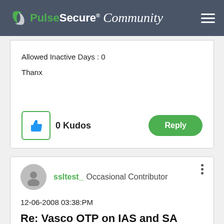Pulse Secure Community
Allowed Inactive Days : 0
Thanx
0 Kudos
Reply
ssltest_ Occasional Contributor
12-06-2008 03:38:PM
Re: Vasco OTP on IAS and SA 2000